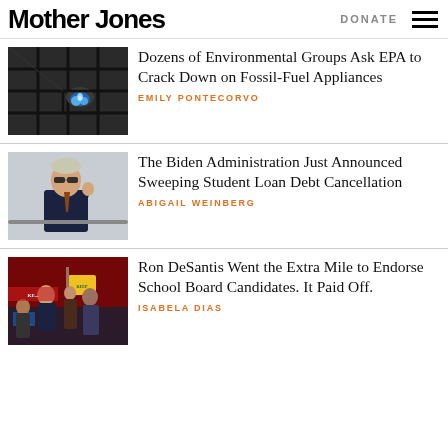Mother Jones | DONATE
Dozens of Environmental Groups Ask EPA to Crack Down on Fossil-Fuel Appliances
EMILY PONTECORVO
The Biden Administration Just Announced Sweeping Student Loan Debt Cancellation
ABIGAIL WEINBERG
Ron DeSantis Went the Extra Mile to Endorse School Board Candidates. It Paid Off.
ISABELA DIAS